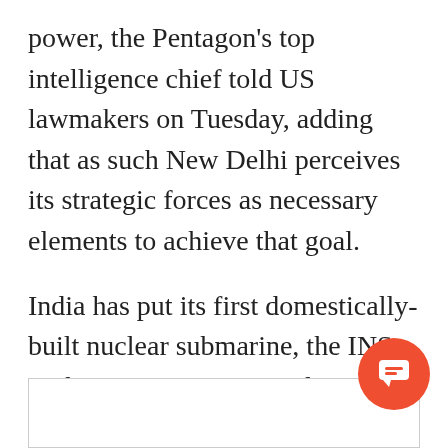power, the Pentagon's top intelligence chief told US lawmakers on Tuesday, adding that as such New Delhi perceives its strategic forces as necessary elements to achieve that goal.
India has put its first domestically-built nuclear submarine, the INS Arihant, into service, and is set to take delivery of its second nuclear sub, the INS Arighat, in 2018, Lt Gen Robert Ashley, Director, Defense Intelligence Agency told members of the Senate Armed Services Committee.